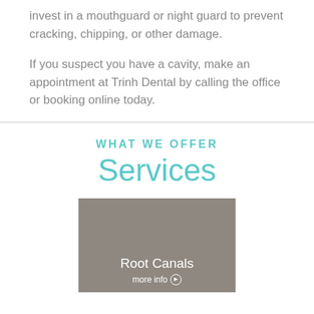invest in a mouthguard or night guard to prevent cracking, chipping, or other damage.
If you suspect you have a cavity, make an appointment at Trinh Dental by calling the office or booking online today.
WHAT WE OFFER
Services
[Figure (other): Gray promotional card with text 'Root Canals' and 'more info' with arrow circle icon]